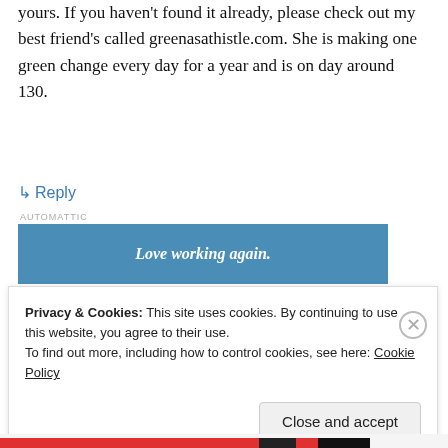yours. If you haven't found it already, please check out my best friend's called greenasathistle.com. She is making one green change every day for a year and is on day around 130.
↳ Reply
[Figure (other): Advertisement banner with blue background reading 'Love working again.' with label 'AUTOMATTIC' above]
Privacy & Cookies: This site uses cookies. By continuing to use this website, you agree to their use.
To find out more, including how to control cookies, see here: Cookie Policy
Close and accept